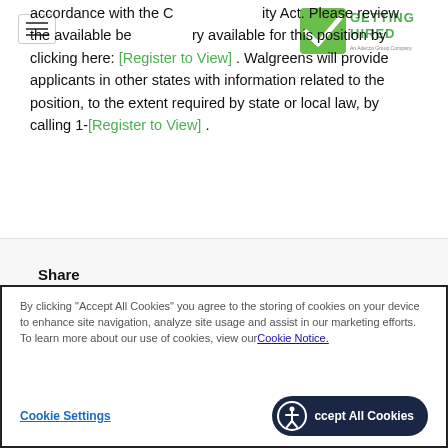[Figure (logo): Getting Hired logo - green checkmark with text 'GETTING HIRED' and subtitle 'An Adecco Group Company']
accordance with the C [Getting Hired logo] ity Act. Please review the available be [Getting Hired logo] ry available for this position by clicking here: [Register to View] . Walgreens will provide applicants in other states with information related to the position, to the extent required by state or local law, by calling 1-[Register to View] .
Share
By clicking "Accept All Cookies" you agree to the storing of cookies on your device to enhance site navigation, analyze site usage and assist in our marketing efforts. To learn more about our use of cookies, view our Cookie Notice.
Cookie Settings    Accept All Cookies